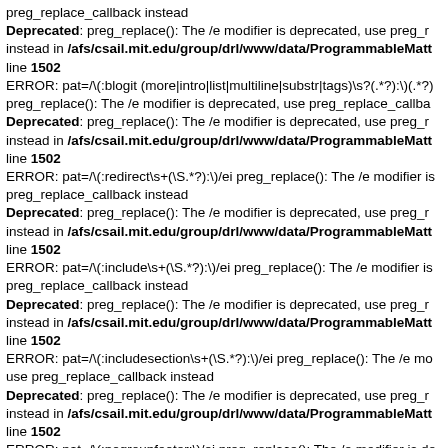preg_replace_callback instead
Deprecated: preg_replace(): The /e modifier is deprecated, use preg_replace_callback instead in /afs/csail.mit.edu/group/drl/www/data/ProgrammableMatter/ line 1502
ERROR: pat=/\(:blogit (more|intro|list|multiline|substr|tags)\s?(.*?):\)(.*?)/ei preg_replace(): The /e modifier is deprecated, use preg_replace_callback instead
Deprecated: preg_replace(): The /e modifier is deprecated, use preg_replace_callback instead in /afs/csail.mit.edu/group/drl/www/data/ProgrammableMatter/ line 1502
ERROR: pat=/\(:redirect\s+(\S.*?):\)/ei preg_replace(): The /e modifier is deprecated, use preg_replace_callback instead
Deprecated: preg_replace(): The /e modifier is deprecated, use preg_replace_callback instead in /afs/csail.mit.edu/group/drl/www/data/ProgrammableMatter/ line 1502
ERROR: pat=/\(:include\s+(\S.*?):\)/ei preg_replace(): The /e modifier is deprecated, use preg_replace_callback instead
Deprecated: preg_replace(): The /e modifier is deprecated, use preg_replace_callback instead in /afs/csail.mit.edu/group/drl/www/data/ProgrammableMatter/ line 1502
ERROR: pat=/\(:includesection\s+(\S.*?):\)/ei preg_replace(): The /e modifier is deprecated, use preg_replace_callback instead
Deprecated: preg_replace(): The /e modifier is deprecated, use preg_replace_callback instead in /afs/csail.mit.edu/group/drl/www/data/ProgrammableMatter/ line 1502
ERROR: pat=/\(:nogroupfooter:\)/ei preg_replace(): The /e modifier is deprecated, use preg_replace_callback instead
Deprecated: preg_replace(): The /e modifier is deprecated, use preg_replace_callback instead in /afs/csail.mit.edu/group/drl/www/data/ProgrammableMatter/ line 1502
ERROR: pat=/\(:nogroupheader:\)/ei preg_replace(): The /e modifier is deprecated